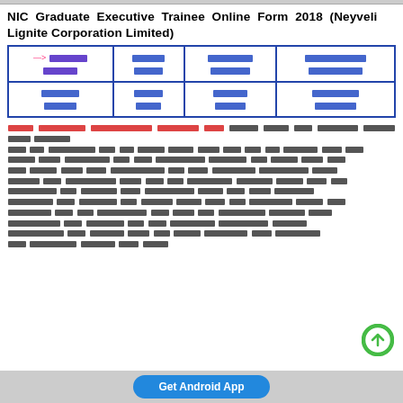NIC Graduate Executive Trainee Online Form 2018 (Neyveli Lignite Corporation Limited)
| → [Hindi text] | [Hindi text] | [Hindi text] | [Hindi text] |
| [Hindi text] | [Hindi text] | [Hindi text] | [Hindi text] |
[Hindi body text with highlighted section at start]